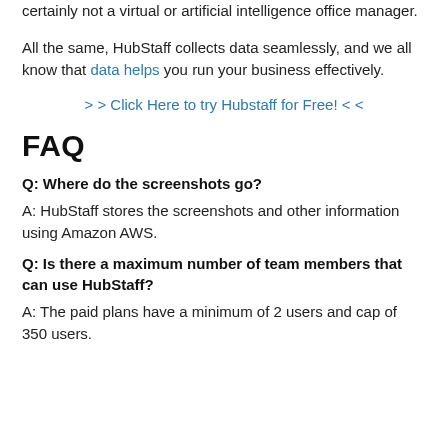certainly not a virtual or artificial intelligence office manager.
All the same, HubStaff collects data seamlessly, and we all know that data helps you run your business effectively.
> > Click Here to try Hubstaff for Free! < <
FAQ
Q: Where do the screenshots go?
A: HubStaff stores the screenshots and other information using Amazon AWS.
Q: Is there a maximum number of team members that can use HubStaff?
A: The paid plans have a minimum of 2 users and cap of 350 users.